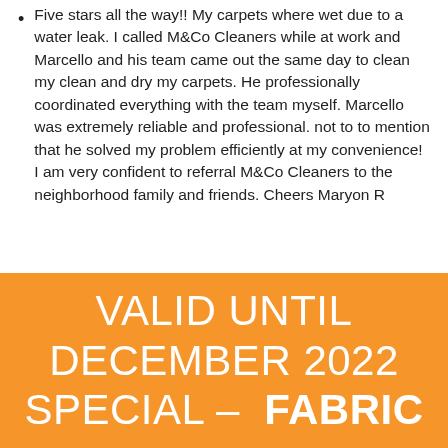Five stars all the way!! My carpets where wet due to a water leak. I called M&Co Cleaners while at work and Marcello and his team came out the same day to clean my clean and dry my carpets. He professionally coordinated everything with the team myself. Marcello was extremely reliable and professional. not to to mention that he solved my problem efficiently at my convenience! I am very confident to referral M&Co Cleaners to the neighborhood family and friends. Cheers Maryon R
[Figure (other): Orange promotional banner with white text reading: VALID UNTIL DECEMBER 2022 SPECIAL – FABRIC]